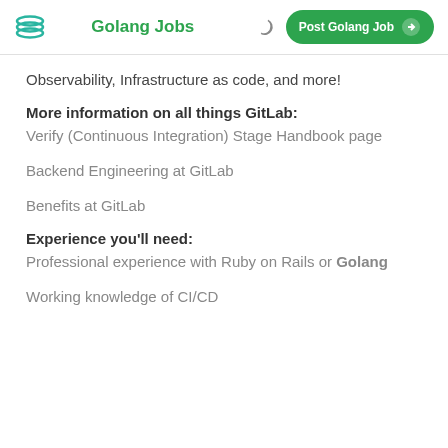Golang Jobs | Post Golang Job
Observability, Infrastructure as code, and more!
More information on all things GitLab:
Verify (Continuous Integration) Stage Handbook page
Backend Engineering at GitLab
Benefits at GitLab
Experience you'll need:
Professional experience with Ruby on Rails or Golang
Working knowledge of CI/CD